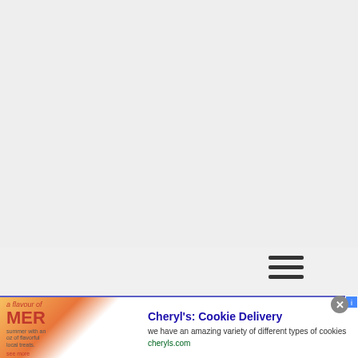[Figure (screenshot): Large blank gray area at top of webpage, representing empty page content area]
infolinks | SubDomain.com
[Figure (infographic): Advertisement banner: Cheryl's Cookie Delivery - we have an amazing variety of different types of cookies - cheryls.com]